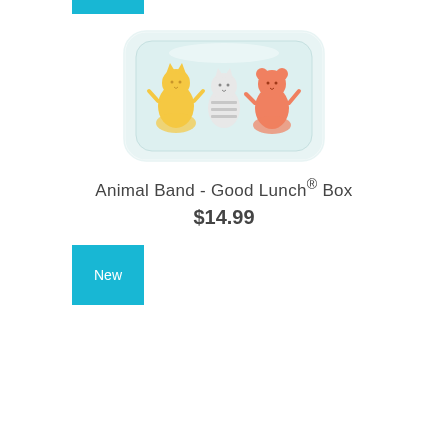[Figure (photo): A rectangular lunch box with a clear/white lid featuring cartoon animal characters (cat and other animals) in yellow, orange, and pink colors on a light blue background]
Animal Band - Good Lunch® Box
$14.99
New